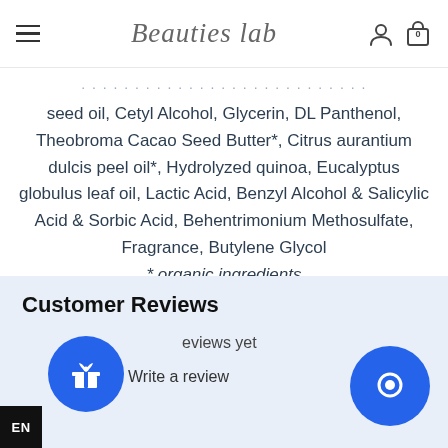Beauties lab
seed oil, Cetyl Alcohol, Glycerin, DL Panthenol, Theobroma Cacao Seed Butter*, Citrus aurantium dulcis peel oil*, Hydrolyzed quinoa, Eucalyptus globulus leaf oil, Lactic Acid, Benzyl Alcohol & Salicylic Acid & Sorbic Acid, Behentrimonium Methosulfate, Fragrance, Butylene Glycol * organic ingredients
Customer Reviews
reviews yet
Write a review